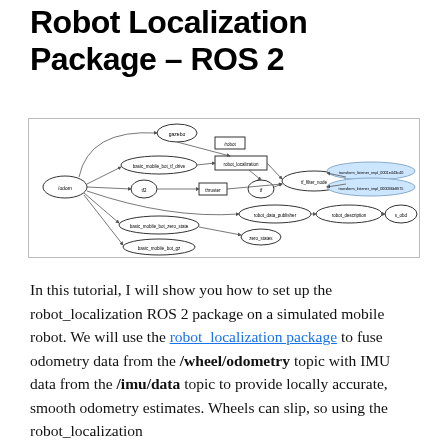Robot Localization Package – ROS 2
[Figure (network-graph): ROS 2 node graph showing robot localization package connections. Nodes and topics shown as ellipses and rectangles with arrows indicating data flow between nodes such as /odom, basic_mobile_bot_tf_drive, robot_localization, tf_filter_node, tf, robot_data_publisher, robot_description, basic_mobile_bot_zero_state, zero_states, basic_mobile_bot_gz, and transform listener nodes.]
In this tutorial, I will show you how to set up the robot_localization ROS 2 package on a simulated mobile robot. We will use the robot_localization package to fuse odometry data from the /wheel/odometry topic with IMU data from the /imu/data topic to provide locally accurate, smooth odometry estimates. Wheels can slip, so using the robot_localization